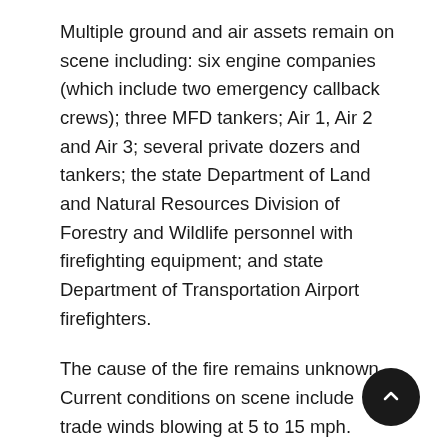Multiple ground and air assets remain on scene including: six engine companies (which include two emergency callback crews); three MFD tankers; Air 1, Air 2 and Air 3; several private dozers and tankers; the state Department of Land and Natural Resources Division of Forestry and Wildlife personnel with firefighting equipment; and state Department of Transportation Airport firefighters.
The cause of the fire remains unknown. Current conditions on scene include trade winds blowing at 5 to 15 mph.
Previous Post:
KAPALUA FIRE: Maui fire crews are on the scene